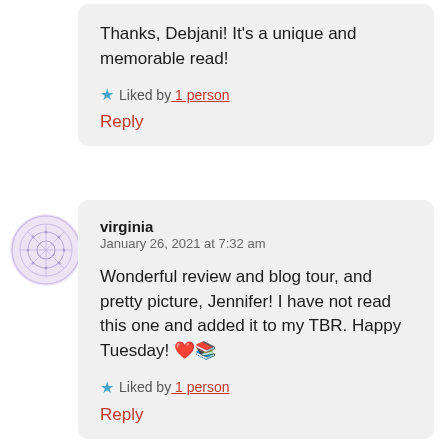Thanks, Debjani! It's a unique and memorable read!
Liked by 1 person
Reply
virginia
January 26, 2021 at 7:32 am
Wonderful review and blog tour, and pretty picture, Jennifer! I have not read this one and added it to my TBR. Happy Tuesday! ❤️📚
Liked by 1 person
Reply